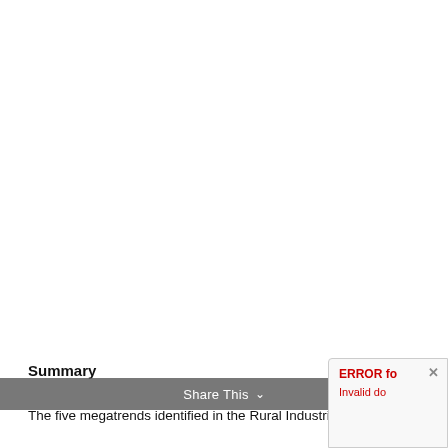Summary
The five megatrends identified in the Rural Industries